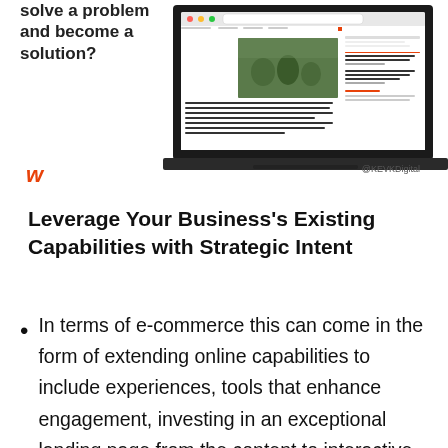[Figure (screenshot): Laptop showing a website/blog page with an article featuring a photo of people outdoors and sidebar content]
solve a problem and become a solution?
@KEVKDigital
Leverage Your Business's Existing Capabilities with Strategic Intent
In terms of e-commerce this can come in the form of extending online capabilities to include experiences, tools that enhance engagement, investing in an exceptional landing page from the content to interactive features and brand